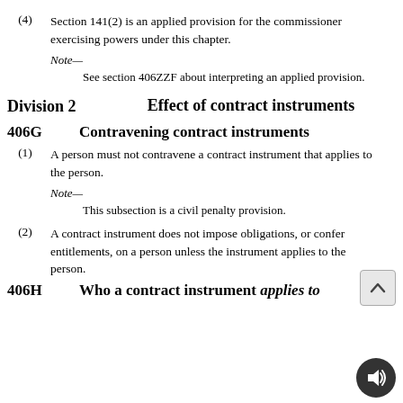(4) Section 141(2) is an applied provision for the commissioner exercising powers under this chapter.
Note—
See section 406ZZF about interpreting an applied provision.
Division 2    Effect of contract instruments
406G    Contravening contract instruments
(1) A person must not contravene a contract instrument that applies to the person.
Note—
This subsection is a civil penalty provision.
(2) A contract instrument does not impose obligations, or confer entitlements, on a person unless the instrument applies to the person.
406H    Who a contract instrument applies to